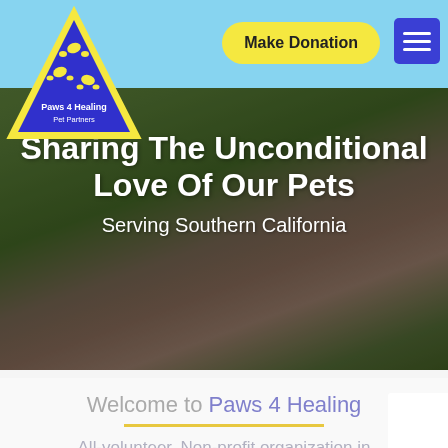[Figure (logo): Paws 4 Healing Pet Partners logo — blue triangle with yellow border and yellow paw prints, text 'Paws 4 Healing Pet Partners']
Make Donation
[Figure (photo): Person in red jacket hugging a light-colored dog on green grass]
Sharing The Unconditional Love Of Our Pets
Serving Southern California
Welcome to Paws 4 Healing
All-volunteer, Non-profit organization in Southern California